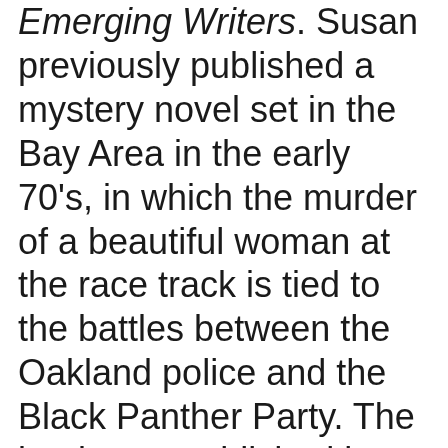Emerging Writers. Susan previously published a mystery novel set in the Bay Area in the early 70's, in which the murder of a beautiful woman at the race track is tied to the battles between the Oakland police and the Black Panther Party. The book was published by Work Woman's Press. Susan has worked as a nurse in Thailand, Cambodia, Cuba, El Salvador and in the George Jackson Clinic run by the Black Panthers in